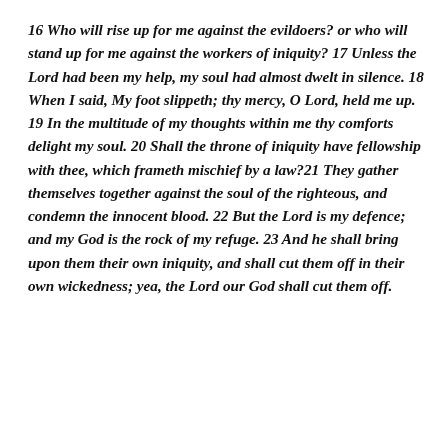16 Who will rise up for me against the evildoers? or who will stand up for me against the workers of iniquity? 17 Unless the Lord had been my help, my soul had almost dwelt in silence. 18 When I said, My foot slippeth; thy mercy, O Lord, held me up. 19 In the multitude of my thoughts within me thy comforts delight my soul. 20 Shall the throne of iniquity have fellowship with thee, which frameth mischief by a law?21 They gather themselves together against the soul of the righteous, and condemn the innocent blood. 22 But the Lord is my defence; and my God is the rock of my refuge. 23 And he shall bring upon them their own iniquity, and shall cut them off in their own wickedness; yea, the Lord our God shall cut them off.